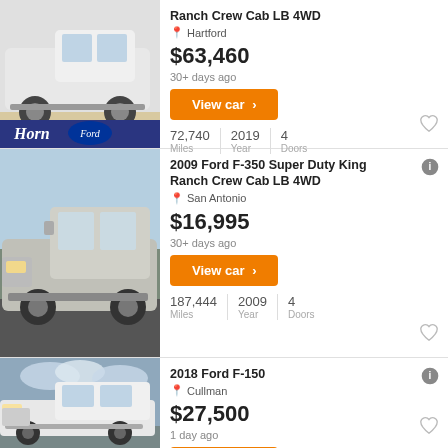[Figure (photo): White Ford truck (King Ranch Crew Cab) parked in a showroom, viewed from side/front angle. Ford and Horn dealer logo visible on lower portion.]
Ranch Crew Cab LB 4WD
Hartford
$63,460
30+ days ago
View car >
72,740 Miles | 2019 Year | 4 Doors
[Figure (photo): Silver/white Ford F-350 Super Duty truck parked on a lot, viewed from front-left angle.]
2009 Ford F-350 Super Duty King Ranch Crew Cab LB 4WD
San Antonio
$16,995
30+ days ago
View car >
187,444 Miles | 2009 Year | 4 Doors
[Figure (photo): White Ford F-150 truck parked outdoors under cloudy sky, viewed from front-left angle.]
2018 Ford F-150
Cullman
$27,500
1 day ago
View car >